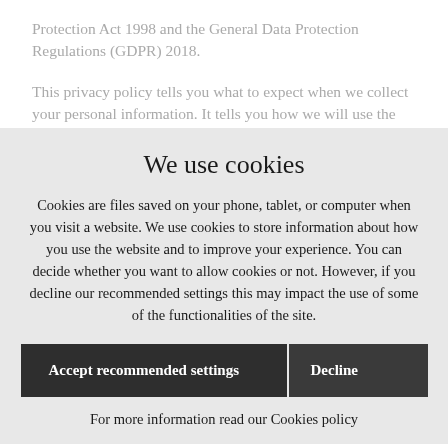Protection Act 1998 and the General Data Protection Regulations (GDPR) 2018.
This privacy policy tells you what to expect when we collect your personal information. It tells you how we will use the
We use cookies
Cookies are files saved on your phone, tablet, or computer when you visit a website. We use cookies to store information about how you use the website and to improve your experience. You can decide whether you want to allow cookies or not. However, if you decline our recommended settings this may impact the use of some of the functionalities of the site.
Accept recommended settings | Decline
For more information read our Cookies policy